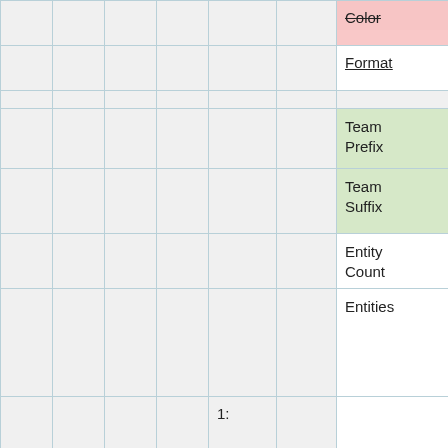|  |  |  |  |  |  | Color / Format / Team Prefix / Team Suffix / Entity Count / Entities |
| --- | --- | --- | --- | --- | --- | --- |
|  |  |  |  |  |  | Color |
|  |  |  |  |  |  | Format |
|  |  |  |  |  |  | Team Prefix |
|  |  |  |  |  |  | Team Suffix |
|  |  |  |  |  |  | Entity Count |
|  |  |  |  |  |  | Entities |
|  |  |  |  | 1: |  |